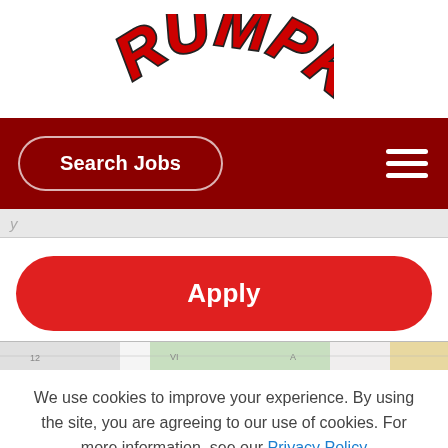[Figure (logo): Rumpke logo — bold red arched text with black outline on white background]
Search Jobs
[Figure (screenshot): Partial webpage strip showing a y character, likely part of a word]
Apply
[Figure (map): Partial map strip showing light green and white areas with road markings]
We use cookies to improve your experience. By using the site, you are agreeing to our use of cookies. For more information, see our Privacy Policy
Accept